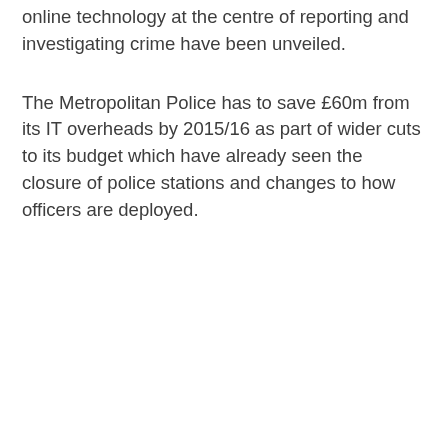online technology at the centre of reporting and investigating crime have been unveiled.
The Metropolitan Police has to save £60m from its IT overheads by 2015/16 as part of wider cuts to its budget which have already seen the closure of police stations and changes to how officers are deployed.